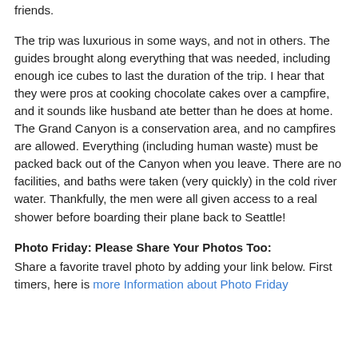friends.
The trip was luxurious in some ways, and not in others. The guides brought along everything that was needed, including enough ice cubes to last the duration of the trip. I hear that they were pros at cooking chocolate cakes over a campfire, and it sounds like husband ate better than he does at home. The Grand Canyon is a conservation area, and no campfires are allowed. Everything (including human waste) must be packed back out of the Canyon when you leave. There are no facilities, and baths were taken (very quickly) in the cold river water. Thankfully, the men were all given access to a real shower before boarding their plane back to Seattle!
Photo Friday: Please Share Your Photos Too:
Share a favorite travel photo by adding your link below. First timers, here is more Information about Photo Friday